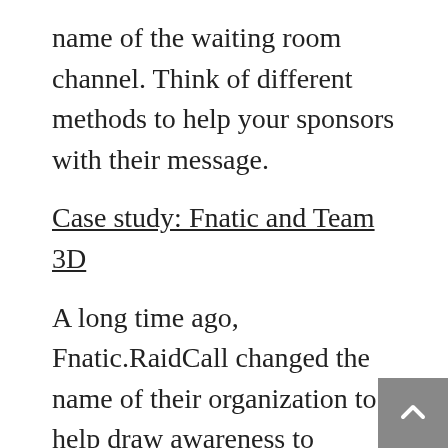name of the waiting room channel. Think of different methods to help your sponsors with their message.
Case study: Fnatic and Team 3D
A long time ago, Fnatic.RaidCall changed the name of their organization to help draw awareness to Raidcall. Almost a decade ago, when Counterstrike Source was at its height, I believe Team 3D changed their in-game tags from 3D.KSharp to 3D.nVidia Ksharp. This was during the finals of one of the CPL events where thousands of players